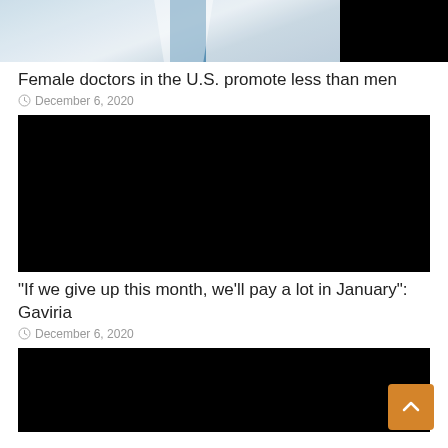[Figure (photo): Partial photo of a female doctor in white coat with stethoscope, cropped at the top of the page]
Female doctors in the U.S. promote less than men
December 6, 2020
[Figure (photo): Black image/video thumbnail placeholder]
“If we give up this month, we’ll pay a lot in January”: Gaviria
December 6, 2020
[Figure (photo): Black image/video thumbnail placeholder, partially visible at bottom of page]